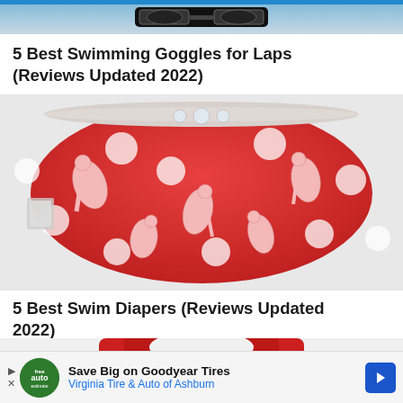[Figure (photo): Top strip showing swimming goggles against a blue/grey background]
5 Best Swimming Goggles for Laps (Reviews Updated 2022)
[Figure (photo): Red fabric swim diaper with flamingo and polka dot pattern]
5 Best Swim Diapers (Reviews Updated 2022)
[Figure (photo): Partial view of a red garment at the bottom of the page]
Save Big on Goodyear Tires Virginia Tire & Auto of Ashburn